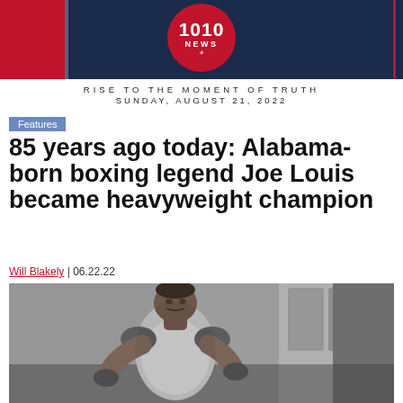1010 NEWS — RISE TO THE MOMENT OF TRUTH — SUNDAY, AUGUST 21, 2022
Features
85 years ago today: Alabama-born boxing legend Joe Louis became heavyweight champion
Will Blakely | 06.22.22
[Figure (photo): Black and white photograph of Joe Louis, a young Black man in a white sleeveless undershirt, looking at the camera in a boxing stance]